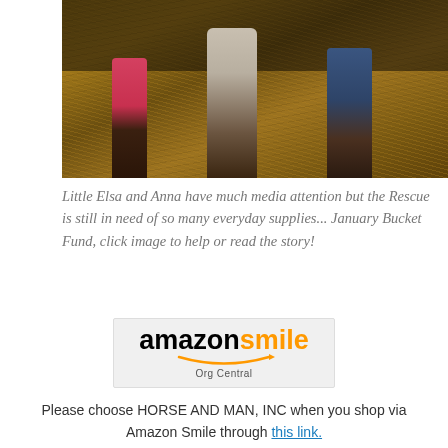[Figure (photo): Close-up photo of horse legs wrapped in bandages and human legs (boots/jeans) standing on straw/hay. Shows pink boots on left, wrapped horse leg in center, jeans and dark boots on right. Background is golden straw/hay.]
Little Elsa and Anna have much media attention but the Rescue is still in need of so many everyday supplies... January Bucket Fund, click image to help or read the story!
[Figure (logo): AmazonSmile Org Central logo. 'amazon' in black bold text, 'smile' in orange bold text, with the Amazon smile/arrow graphic below the text, and 'Org Central' text beneath the arrow.]
Please choose HORSE AND MAN, INC when you shop via Amazon Smile through this link.